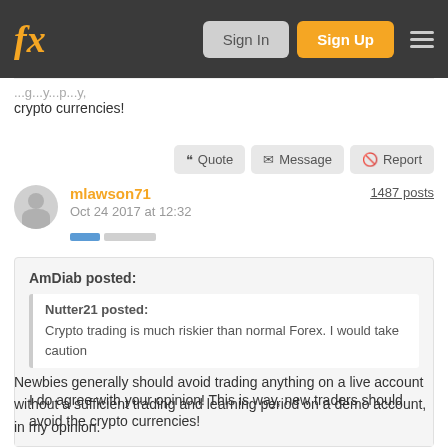fx  Sign In  Sign Up
crypto currencies!
Quote  Message  Report
mlawson71  1487 posts
Oct 24 2017 at 12:32
AmDiab posted:
Nutter21 posted:
Crypto trading is much riskier than normal Forex. I would take caution

I do agree with your opinion! This is way, new traders should avoid the crypto currencies!
Newbies generally should avoid trading anything on a live account without a sufficient trading and learning period on a demo account, in my opinion.